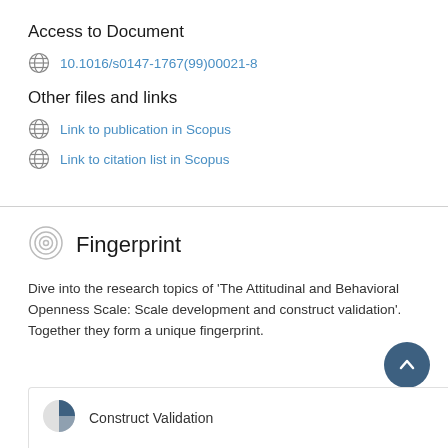Access to Document
10.1016/s0147-1767(99)00021-8
Other files and links
Link to publication in Scopus
Link to citation list in Scopus
Fingerprint
Dive into the research topics of 'The Attitudinal and Behavioral Openness Scale: Scale development and construct validation'. Together they form a unique fingerprint.
Construct Validation